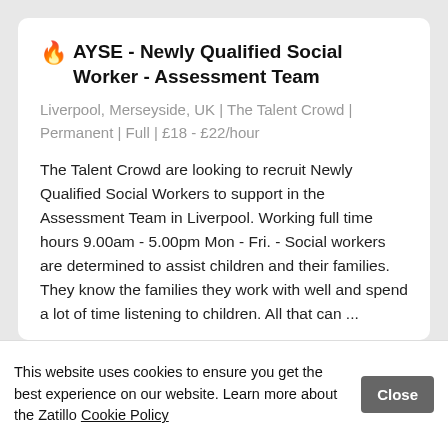🔥 AYSE - Newly Qualified Social Worker - Assessment Team
Liverpool, Merseyside, UK | The Talent Crowd | Permanent | Full | £18 - £22/hour
The Talent Crowd are looking to recruit Newly Qualified Social Workers to support in the Assessment Team in Liverpool. Working full time hours 9.00am - 5.00pm Mon - Fri. - Social workers are determined to assist children and their families. They know the families they work with well and spend a lot of time listening to children. All that can ...
This website uses cookies to ensure you get the best experience on our website. Learn more about the Zatillo Cookie Policy